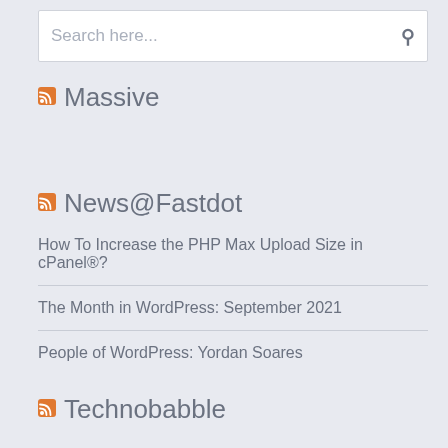Search here...
Massive
News@Fastdot
How To Increase the PHP Max Upload Size in cPanel®?
The Month in WordPress: September 2021
People of WordPress: Yordan Soares
Technobabble